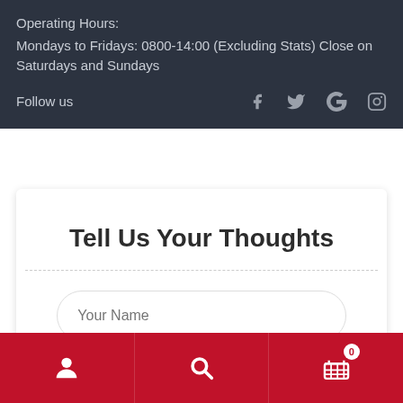Operating Hours:
Mondays to Fridays: 0800-14:00 (Excluding Stats) Close on Saturdays and Sundays
Follow us
Tell Us Your Thoughts
Your Name
User icon | Search icon | Cart icon with badge 0